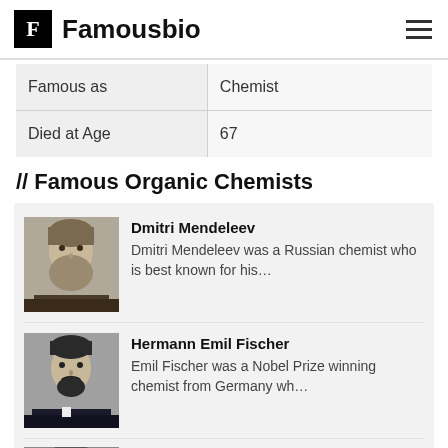Famousbio
| Famous as | Chemist |
| --- | --- |
| Died at Age | 67 |
// Famous Organic Chemists
[Figure (photo): Black and white portrait of Dmitri Mendeleev]
Dmitri Mendeleev
Dmitri Mendeleev was a Russian chemist who is best known for his…
[Figure (photo): Black and white portrait of Hermann Emil Fischer]
Hermann Emil Fischer
Emil Fischer was a Nobel Prize winning chemist from Germany wh…